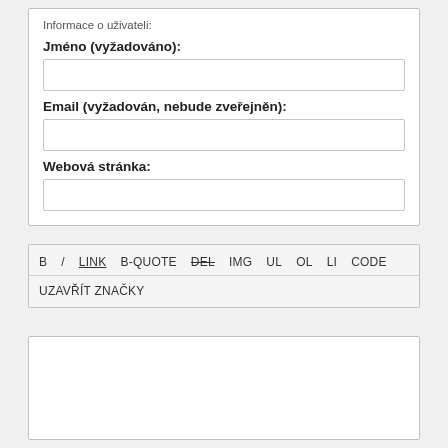Informace o uživateli:
Jméno (vyžadováno):
Email (vyžadován, nebude zveřejněn):
Webová stránka:
B   /   LINK   B-QUOTE   DEL   IMG   UL   OL   LI   CODE
UZAVŘÍT ZNAČKY